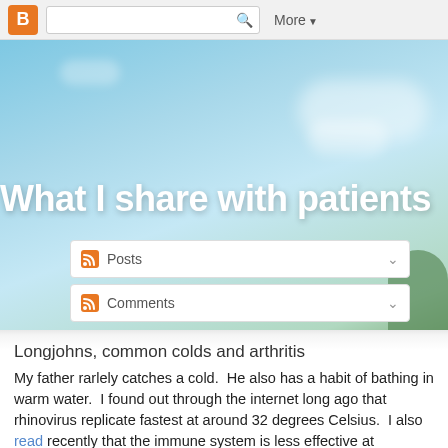B  [search]  More ▼
[Figure (screenshot): Blog header with sky and clouds background]
What I share with patients
Posts ▼
Comments ▼
Longjohns, common colds and arthritis
My father rarlely catches a cold.  He also has a habit of bathing in warm water.  I found out through the internet long ago that rhinovirus replicate fastest at around 32 degrees Celsius.  I also read recently that the immune system is less effective at temperature lower than 37 degrees Celsius. No matter what the reason, I am going to keep wearing and use my longjohns; as 1/3 of an adult body surface area is the legs.